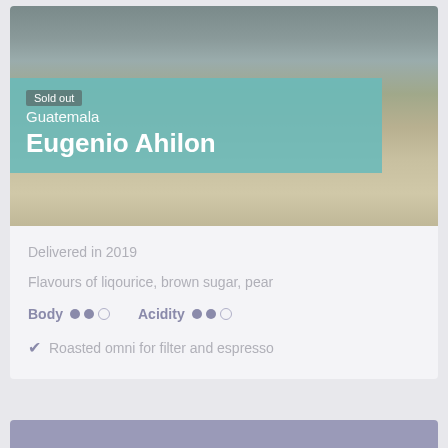[Figure (photo): Outdoor photo of a coffee farm or processing facility with mountains in the background, shown in muted grayscale tones. Coffee drying beds or processing channels visible in the foreground.]
Sold out
Guatemala
Eugenio Ahilon
Delivered in 2019
Flavours of liqourice, brown sugar, pear
Body ●●○   Acidity ●●○
Roasted omni for filter and espresso